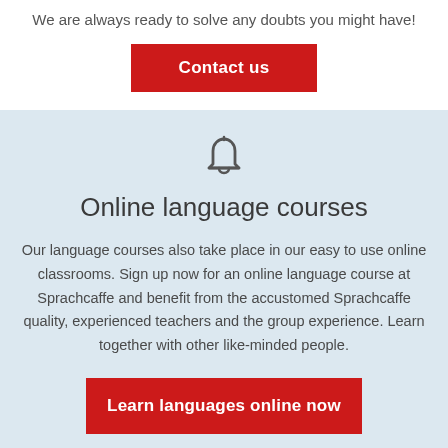We are always ready to solve any doubts you might have!
[Figure (other): Red 'Contact us' button]
[Figure (illustration): Bell icon (notification symbol)]
Online language courses
Our language courses also take place in our easy to use online classrooms. Sign up now for an online language course at Sprachcaffe and benefit from the accustomed Sprachcaffe quality, experienced teachers and the group experience. Learn together with other like-minded people.
[Figure (other): Red 'Learn languages online now' button]